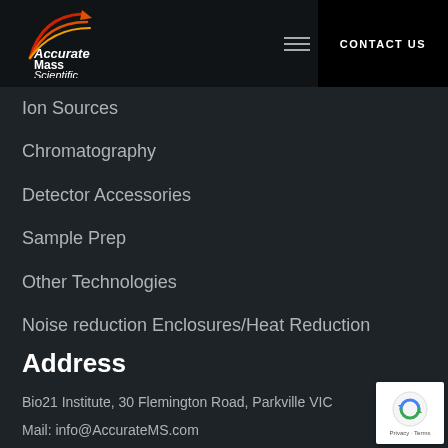[Figure (logo): Accurate Mass Scientific logo with flame/swoosh graphic in red, orange, and yellow above company name in white italic text on dark background]
Ion Sources
Chromatography
Detector Accessories
Sample Prep
Other Technologies
Noise reduction Enclosures/Heat Reduction
Address
Bio21 Institute, 30 Flemington Road, Parkville VIC
Mail: info@AccurateMS.com